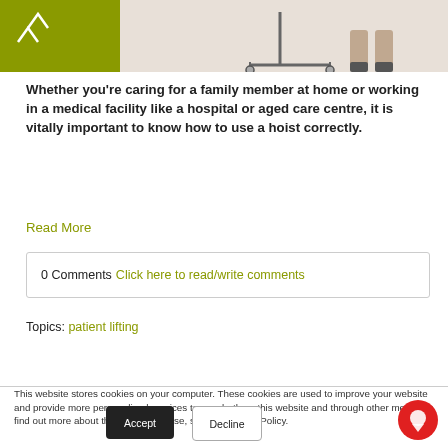[Figure (photo): Header image showing a patient lift/hoist device with a green logo overlay in the top-left corner and a person's legs in the background.]
Whether you're caring for a family member at home or working in a medical facility like a hospital or aged care centre, it is vitally important to know how to use a hoist correctly.
Read More
0 Comments Click here to read/write comments
Topics: patient lifting
This website stores cookies on your computer. These cookies are used to improve your website and provide more personalized services to you, both on this website and through other media. To find out more about the cookies we use, see our Privacy Policy.